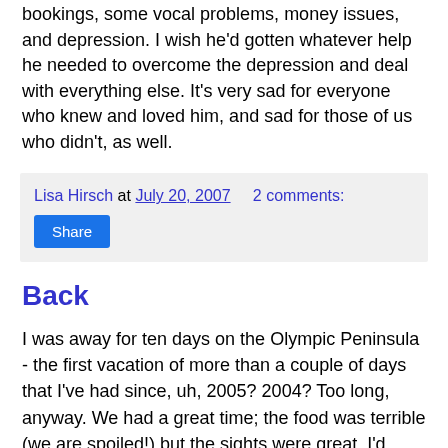bookings, some vocal problems, money issues, and depression. I wish he'd gotten whatever help he needed to overcome the depression and deal with everything else. It's very sad for everyone who knew and loved him, and sad for those of us who didn't, as well.
Lisa Hirsch at July 20, 2007   2 comments:
Share
Back
I was away for ten days on the Olympic Peninsula - the first vacation of more than a couple of days that I've had since, uh, 2005? 2004? Too long, anyway. We had a great time; the food was terrible (we are spoiled!) but the sights were great. I'd never seen bald eagles in the wild before, for example. Amazing birds, especially when eight juveniles and four adults are squabbling with each other on a beach.
A few things happened while I was away, and I have a few